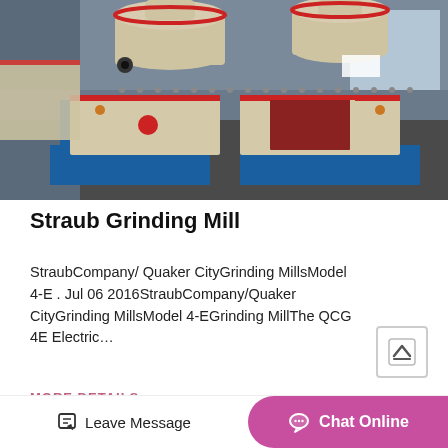[Figure (photo): Industrial grinding mill machines in a factory setting — large cream/beige colored cone crushers or grinding mills on blue steel frames, inside a warehouse]
Straub Grinding Mill
StraubCompany/ Quaker CityGrinding MillsModel 4-E . Jul 06 2016StraubCompany/Quaker CityGrinding MillsModel 4-EGrinding MillThe QCG 4E Electric…
MORE DETAILS
Leave Message
Chat Online